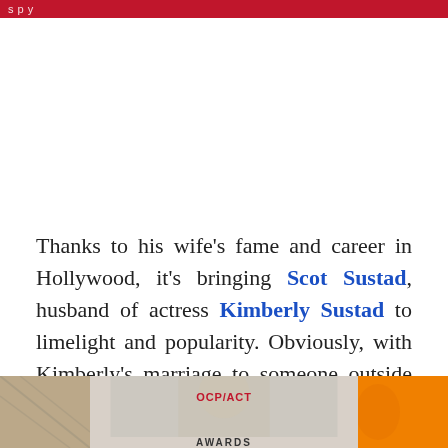Thanks to his wife's fame and career in Hollywood, it's bringing Scot Sustad, husband of actress Kimberly Sustad to limelight and popularity. Obviously, with Kimberly's marriage to someone outside her industry, her fans definitely get curious about her husband's background & occupation.
[Figure (photo): Bottom portion of a photo showing people at what appears to be an awards event with OCP/ACT branding visible and an awards trophy/logo on the right side]